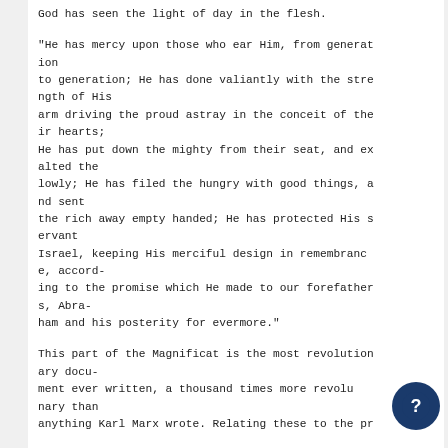God has seen the light of day in the flesh.
"He has mercy upon those who ear Him, from generation to generation; He has done valiantly with the strength of His arm driving the proud astray in the conceit of their hearts; He has put down the mighty from their seat, and exalted the lowly; He has filed the hungry with good things, and sent the rich away empty handed; He has protected His servant Israel, keeping His merciful design in remembrance, according to the promise which He made to our forefathers, Abraham and his posterity for evermore."
This part of the Magnificat is the most revolutionary document ever written, a thousand times more revolutionary than anything Karl Marx wrote. Relating these to the pr